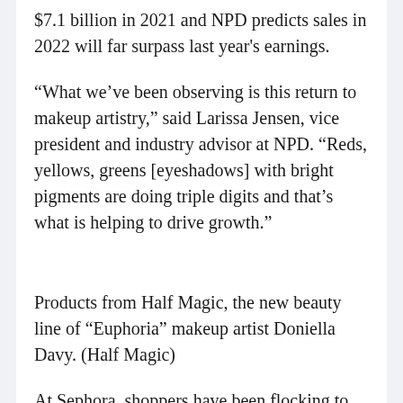$7.1 billion in 2021 and NPD predicts sales in 2022 will far surpass last year's earnings.
“What we’ve been observing is this return to makeup artistry,” said Larissa Jensen, vice president and industry advisor at NPD. “Reds, yellows, greens [eyeshadows] with bright pigments are doing triple digits and that’s what is helping to drive growth.”
Products from Half Magic, the new beauty line of “Euphoria” makeup artist Doniella Davy. (Half Magic)
At Sephora, shoppers have been flocking to products like the beauty giant’s in-house gel